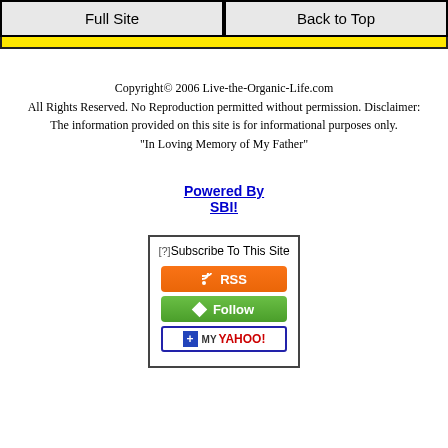Full Site | Back to Top
Copyright© 2006 Live-the-Organic-Life.com
All Rights Reserved. No Reproduction permitted without permission. Disclaimer:
The information provided on this site is for informational purposes only.
"In Loving Memory of My Father"
Powered By
SBI!
[Figure (other): Subscribe To This Site widget with RSS, Follow, and My Yahoo! buttons]